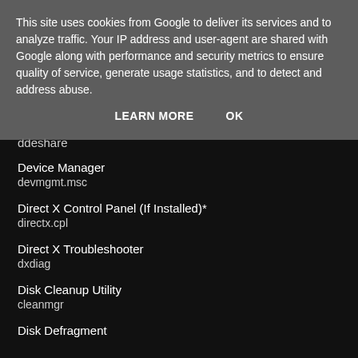This site uses cookies from Google to deliver its services and to analyze traffic. Your IP address and user-agent are shared with Google along with performance and security metrics to ensure quality of service, generate usage statistics, and to detect and address abuse.
LEARN MORE   OK
ddeshare
Device Manager
devmgmt.msc
Direct X Control Panel (If Installed)*
directx.cpl
Direct X Troubleshooter
dxdiag
Disk Cleanup Utility
cleanmgr
Disk Defragment